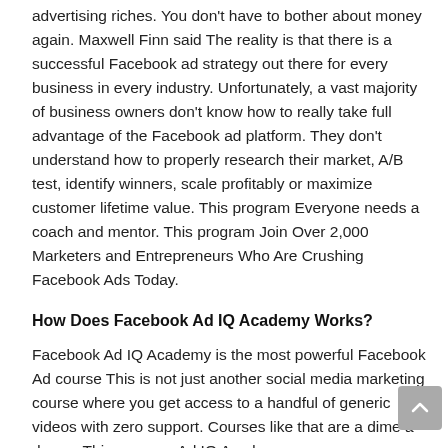advertising riches. You don't have to bother about money again. Maxwell Finn said The reality is that there is a successful Facebook ad strategy out there for every business in every industry. Unfortunately, a vast majority of business owners don't know how to really take full advantage of the Facebook ad platform. They don't understand how to properly research their market, A/B test, identify winners, scale profitably or maximize customer lifetime value. This program Everyone needs a coach and mentor. This program Join Over 2,000 Marketers and Entrepreneurs Who Are Crushing Facebook Ads Today.
How Does Facebook Ad IQ Academy Works?
Facebook Ad IQ Academy is the most powerful Facebook Ad course This is not just another social media marketing course where you get access to a handful of generic videos with zero support. Courses like that are a dime a dozen. This program Ad IQ Academy